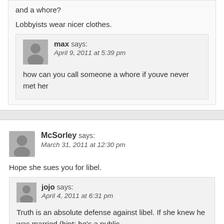and a whore?
Lobbyists wear nicer clothes.
max says:
April 9, 2011 at 5:39 pm
how can you call someone a whore if youve never met her
McSorley says:
March 31, 2011 at 12:30 pm
Hope she sues you for libel.
jojo says:
April 4, 2011 at 6:31 pm
Truth is an absolute defense against libel. If she knew he was married (hint: he's a public